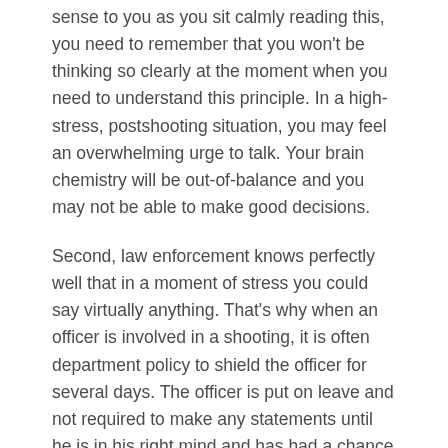sense to you as you sit calmly reading this, you need to remember that you won't be thinking so clearly at the moment when you need to understand this principle. In a high-stress, postshooting situation, you may feel an overwhelming urge to talk. Your brain chemistry will be out-of-balance and you may not be able to make good decisions.
Second, law enforcement knows perfectly well that in a moment of stress you could say virtually anything. That's why when an officer is involved in a shooting, it is often department policy to shield the officer for several days. The officer is put on leave and not required to make any statements until he is in his right mind and has had a chance to speak with his attorney and carefully consider his statement.
This is common sense, but it is a privilege not extended to the general public.
In summary, beware the excited utterance. No matter how badly